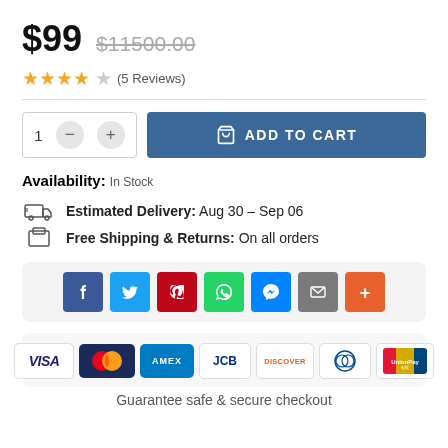$99  $11500.00
★★★★☆ (5 Reviews)
1  −  +  ADD TO CART
Availability: In Stock
Estimated Delivery: Aug 30 – Sep 06
Free Shipping & Returns: On all orders
[Figure (infographic): Social share buttons: Facebook, Twitter, Pinterest, WhatsApp, Messenger, Email, More (+)]
[Figure (infographic): Payment method logos: Visa, Mastercard, AMEX, JCB, Discover, Diners Club, UnionPay]
Guarantee safe & secure checkout